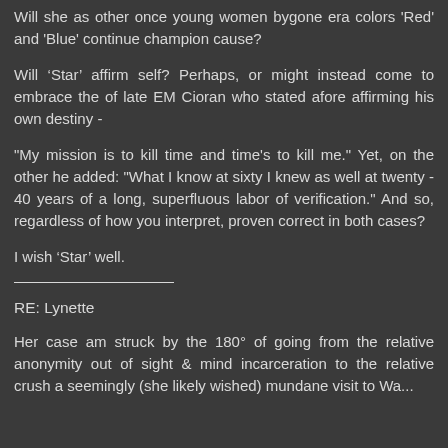Will she as other once young women bygone era colors 'Red' and 'Blue' continue champion cause?
Will 'Star' affirm self? Perhaps, or might instead come to embrace the of late EM Cioran who stated afore affirming his own destiny -
"My mission is to kill time and time's to kill me." Yet, on the other he added: "What I know at sixty I knew as well at twenty - 40 years of a long, superfluous labor of verification." And so, regardless of how you interpret, proven correct in both cases?
I wish ‘Star’ well.
RE: Lynette
Her case am struck by the 180° of going from the relative anonymity out of sight & mind incarceration to the relative crush a seemingly (she likely wished) mundane visit to Wa...